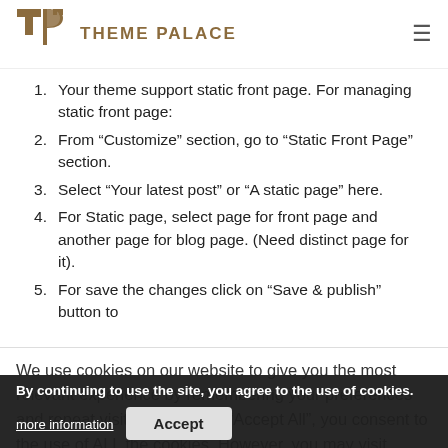[Figure (logo): Theme Palace logo with icon and text]
Your theme support static front page. For managing static front page:
From “Customize” section, go to “Static Front Page” section.
Select “Your latest post” or “A static page” here.
For Static page, select page for front page and another page for blog page. (Need distinct page for it).
For save the changes click on “Save & publish” button to
We use cookies on our website to give you the most relevant experience by remembering your preferences and repeat visits. By clicking “Accept All”, you consent to the use of ALL the cookies. However, you may visit "Cookie Settings" to provide a controlled consent.
By continuing to use the site, you agree to the use of cookies.
more information
Accept